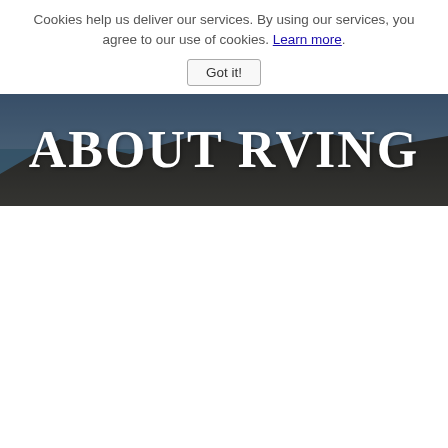Cookies help us deliver our services. By using our services, you agree to our use of cookies. Learn more.
Got it!
[Figure (photo): Outdoor coastal/rocky scene with an RV or vehicle visible, used as a website hero banner background with 'ABOUT RVING' text overlay in large white serif bold letters]